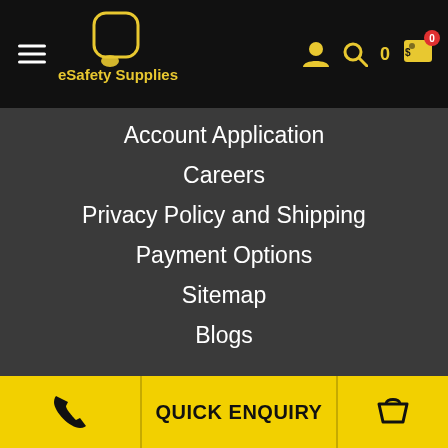eSafety Supplies
Account Application
Careers
Privacy Policy and Shipping
Payment Options
Sitemap
Blogs
QUICK ENQUIRY